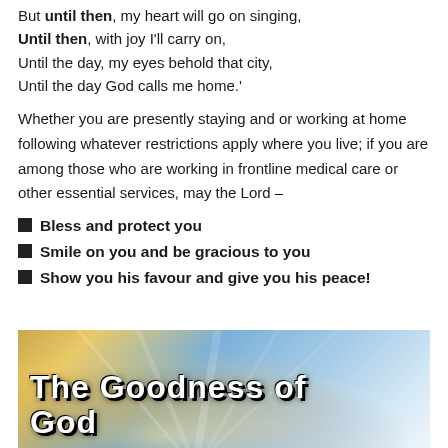But until then, my heart will go on singing,
Until then, with joy I'll carry on,
Until the day, my eyes behold that city,
Until the day God calls me home.'
Whether you are presently staying and or working at home following whatever restrictions apply where you live; if you are among those who are working in frontline medical care or other essential services, may the Lord –
Bless and protect you
Smile on you and be gracious to you
Show you his favour and give you his peace!
[Figure (illustration): Banner image with sky and light rays background showing text 'The Goodness of God' in large bold white letters with black outline]